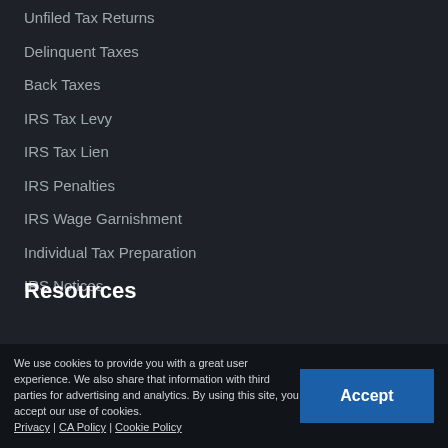Unfiled Tax Returns
Delinquent Taxes
Back Taxes
IRS Tax Levy
IRS Tax Lien
IRS Penalties
IRS Wage Garnishment
Individual Tax Preparation
IRS Notices
Resources
Tax Blog
We use cookies to provide you with a great user experience. We also share that information with third parties for advertising and analytics. By using this site, you accept our use of cookies. Privacy | CA Policy | Cookie Policy